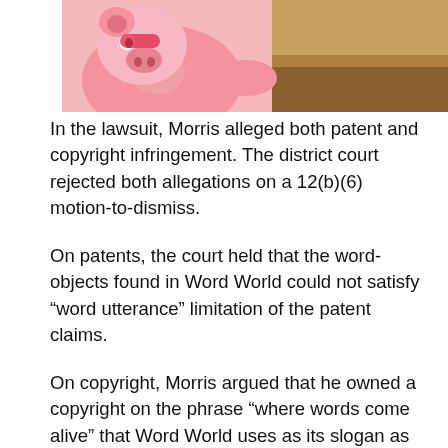[Figure (photo): Cartoon illustration showing a pink pig character on the left side against an orange/tan background, and a wooden desk or table surface visible on the right side.]
In the lawsuit, Morris alleged both patent and copyright infringement. The district court rejected both allegations on a 12(b)(6) motion-to-dismiss.
On patents, the court held that the word-objects found in Word World could not satisfy “word utterance” limitation of the patent claims.
On copyright, Morris argued that he owned a copyright on the phrase “where words come alive” that Word World uses as its slogan as well as a copyright in the “teaching methodology” that he had developed. The district court rejected both of these arguments: first holding that the phrase “where words come alive” could not be protected by copyright because it is merely a short phrase or slogan; then holding that the “teaching methodology”